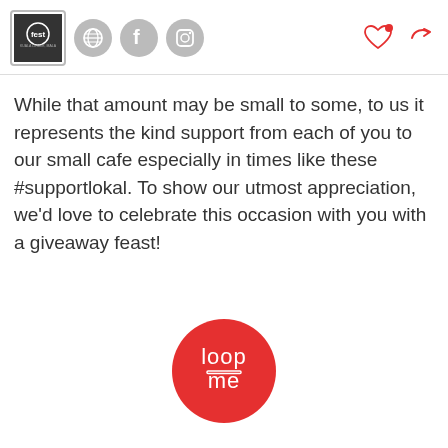fest logo, globe icon, facebook icon, instagram icon, heart icon, share icon
While that amount may be small to some, to us it represents the kind support from each of you to our small cafe especially in times like these #supportlokal. To show our utmost appreciation, we'd love to celebrate this occasion with you with a giveaway feast!
[Figure (logo): Loopme red circle logo with white text 'loop me']